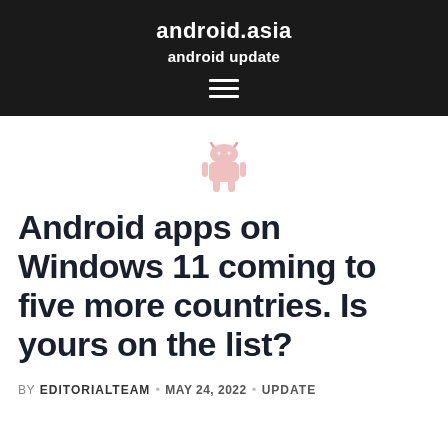android.asia
android update
[Figure (illustration): Hamburger menu icon (three horizontal white lines) in the dark header bar]
[Figure (illustration): Small pink/light-red Android robot icon centered above the article title]
Android apps on Windows 11 coming to five more countries. Is yours on the list?
BY EDITORIALTEAM · MAY 24, 2022 · UPDATE